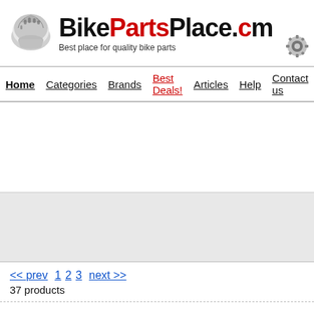[Figure (logo): BikePartsPlace.com logo with helmet image, red and black brand name text, tagline 'Best place for quality bike parts', and gear icon]
Home | Categories | Brands | Best Deals! | Articles | Help | Contact us | O...
<< prev  1 2 3  next >>
37 products